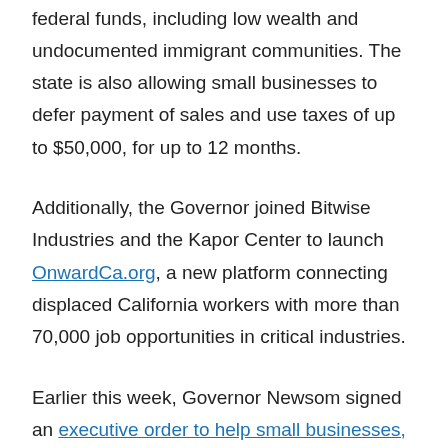businesses to help eliminate barriers to capital for individuals who do not qualify for federal funds, including low wealth and undocumented immigrant communities. The state is also allowing small businesses to defer payment of sales and use taxes of up to $50,000, for up to 12 months.
Additionally, the Governor joined Bitwise Industries and the Kapor Center to launch OnwardCa.org, a new platform connecting displaced California workers with more than 70,000 job opportunities in critical industries.
Earlier this week, Governor Newsom signed an executive order to help small businesses, granting a 90-day extension for small businesses to pay sales taxes.
Governor Newsom also today announced $17.8 million in new state initiatives to support California workers impacted by COVID-19. The allocation will come from Workforce